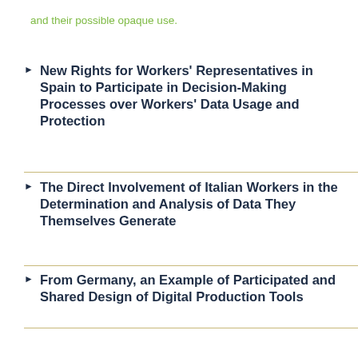and their possible opaque use.
New Rights for Workers' Representatives in Spain to Participate in Decision-Making Processes over Workers' Data Usage and Protection
The Direct Involvement of Italian Workers in the Determination and Analysis of Data They Themselves Generate
From Germany, an Example of Participated and Shared Design of Digital Production Tools